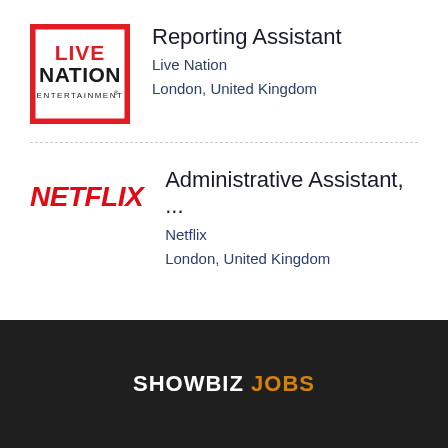[Figure (logo): Live Nation Entertainment logo — red square border with LIVE NATION ENTERTAINMENT text in red and black]
Reporting Assistant
Live Nation
London, United Kingdom
[Figure (logo): Netflix red italic text logo]
Administrative Assistant, ...
Netflix
London, United Kingdom
SHOWBIZ JOBS